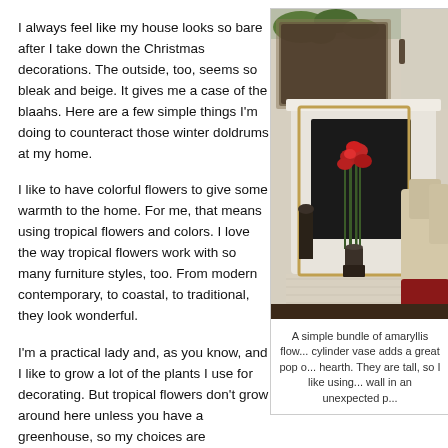I always feel like my house looks so bare after I take down the Christmas decorations. The outside, too, seems so bleak and beige. It gives me a case of the blaahs. Here are a few simple things I'm doing to counteract those winter doldrums at my home.
I like to have colorful flowers to give some warmth to the home. For me, that means using tropical flowers and colors. I love the way tropical flowers work with so many furniture styles, too. From modern contemporary, to coastal, to traditional, they look wonderful.
I'm a practical lady and, as you know, and I like to grow a lot of the plants I use for decorating. But tropical flowers don't grow around here unless you have a greenhouse, so my choices are purchasing them from a floral supply shop (very expensive!), or using silk replicas. Well, you know what this budget-minded lady is going to use! There
[Figure (photo): Indoor fireplace scene with red amaryllis flowers in a tall cylinder vase on the hearth, a beige wingback chair, ivy above the mantel, and a dark rug.]
A simple bundle of amaryllis flow... cylinder vase adds a great pop o... hearth. They are tall, so I like using... wall in an unexpected p...